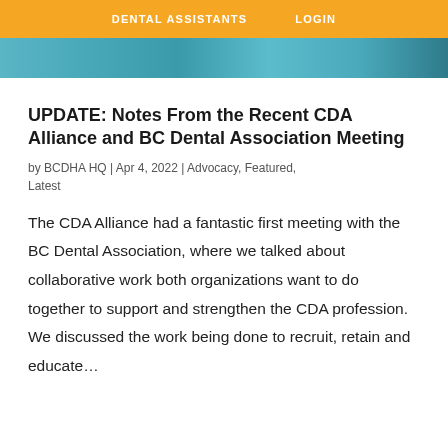DENTAL ASSISTANTS   LOGIN
[Figure (photo): Partial cropped photo of people, teal/blue tones, top portion only visible]
UPDATE: Notes From the Recent CDA Alliance and BC Dental Association Meeting
by BCDHA HQ | Apr 4, 2022 | Advocacy, Featured, Latest
The CDA Alliance had a fantastic first meeting with the BC Dental Association, where we talked about collaborative work both organizations want to do together to support and strengthen the CDA profession. We discussed the work being done to recruit, retain and educate...